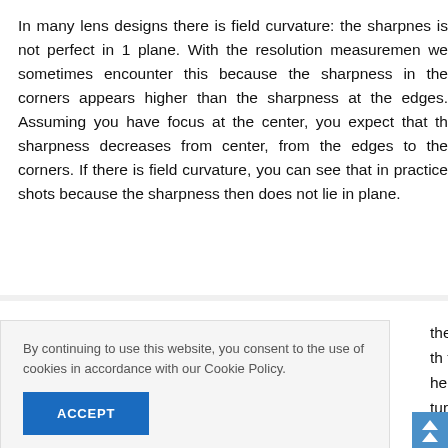In many lens designs there is field curvature: the sharpness is not perfect in 1 plane. With the resolution measurements we sometimes encounter this because the sharpness in the corners appears higher than the sharpness at the edges. Assuming you have focus at the center, you expect that the sharpness decreases from center, from the edges to the corners. If there is field curvature, you can see that in practice shots because the sharpness then does not lie in plane.
By continuing to use this website, you consent to the use of cookies in accordance with our Cookie Policy.
the
th the Sony
he name say
ture. That's
n. This lens
 aperture. A
est center